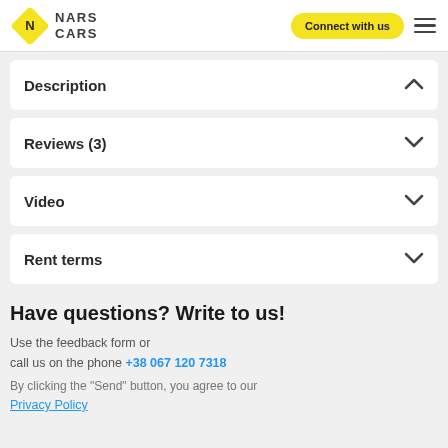NARS CARS | Connect with us
Description
Reviews (3)
Video
Rent terms
Have questions? Write to us!
Use the feedback form or call us on the phone +38 067 120 7318
By clicking the "Send" button, you agree to our
Privacy Policy